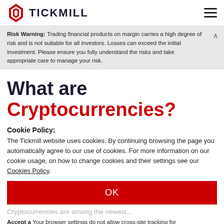TICKMILL
Risk Warning: Trading financial products on margin carries a high degree of risk and is not suitable for all investors. Losses can exceed the initial investment. Please ensure you fully understand the risks and take appropriate care to manage your risk.
What are Cryptocurrencies?
Cookie Policy:
The Tickmill website uses cookies. By continuing browsing the page you automatically agree to our use of cookies. For more information on our cookie usage, on how to change cookies and their settings see our Cookies Policy.
OK
Cryptocurrencies are among the newest...
Accept a...
Your browser settings do not allow cross-site tracking for advertising. Click on this p... AdRoll to use cross-site tracking to tailor ads to you. Learn more or opt out of this Ad... by clicking here. This message only appears once.
network where transactions can be conducted...